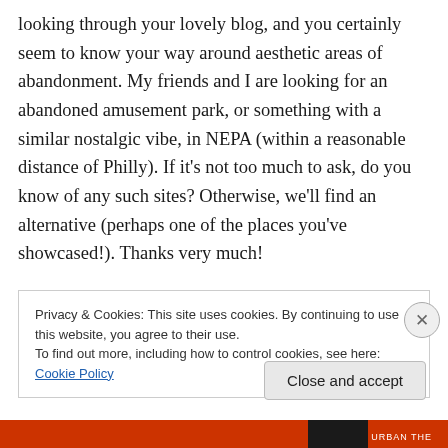looking through your lovely blog, and you certainly seem to know your way around aesthetic areas of abandonment. My friends and I are looking for an abandoned amusement park, or something with a similar nostalgic vibe, in NEPA (within a reasonable distance of Philly). If it's not too much to ask, do you know of any such sites? Otherwise, we'll find an alternative (perhaps one of the places you've showcased!). Thanks very much!
Privacy & Cookies: This site uses cookies. By continuing to use this website, you agree to their use.
To find out more, including how to control cookies, see here: Cookie Policy
Close and accept